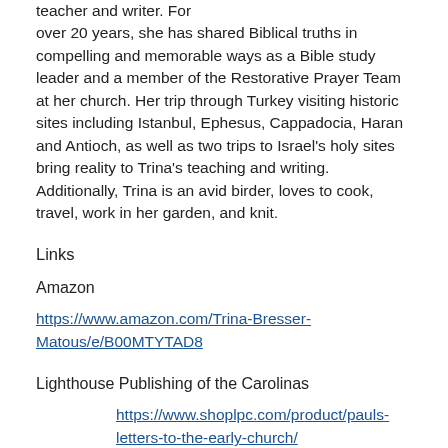teacher and writer. For over 20 years, she has shared Biblical truths in compelling and memorable ways as a Bible study leader and a member of the Restorative Prayer Team at her church. Her trip through Turkey visiting historic sites including Istanbul, Ephesus, Cappadocia, Haran and Antioch, as well as two trips to Israel's holy sites bring reality to Trina's teaching and writing. Additionally, Trina is an avid birder, loves to cook, travel, work in her garden, and knit.
Links
Amazon
https://www.amazon.com/Trina-Bresser-Matous/e/B00MTYTAD8
Lighthouse Publishing of the Carolinas
https://www.shoplpc.com/product/pauls-letters-to-the-early-church/
https://www.shoplpc.com/product/birthof-the...